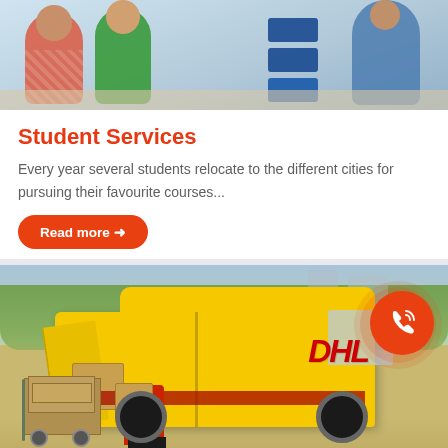[Figure (photo): Photo of people at a service counter/desk, with blue storage bins in the background]
Student Services
Every year several students relocate to the different cities for pursuing their favourite courses...
Read more →
[Figure (photo): Photo of a DHL delivery driver loading packages from a yellow DHL van, with a cart of boxes nearby]